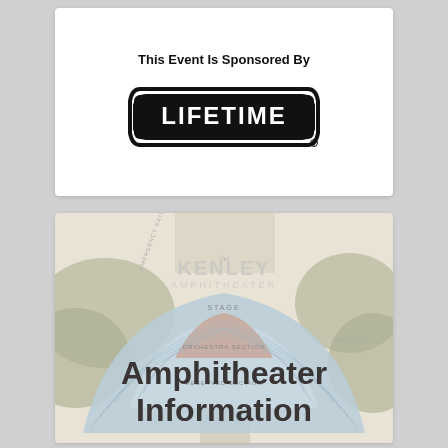This Event Is Sponsored By
[Figure (logo): Lifetime brand logo — black rounded rectangle border with bold white LIFETIME text on black background]
[Figure (map): Kenley Amphitheater seating map showing stage, orchestra section, reserved section, main gate, and emergency exit labels]
Amphitheater Information